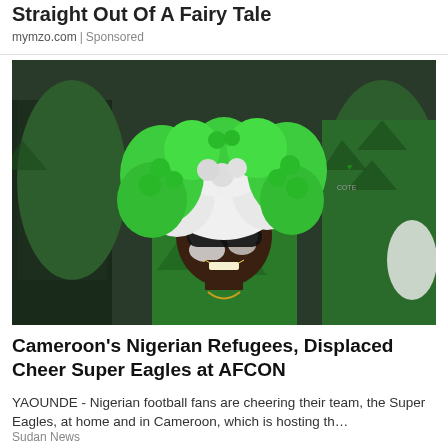Straight Out Of A Fairy Tale
mymzo.com | Sponsored
[Figure (photo): A smiling man wearing a large green and white afro wig and dark sunglasses, with face paint, wearing a Nigeria Super Eagles green jersey. He is surrounded by other fans in similar green jerseys at what appears to be a football stadium.]
Cameroon's Nigerian Refugees, Displaced Cheer Super Eagles at AFCON
YAOUNDE -  Nigerian football fans are cheering their team, the Super Eagles, at home and in Cameroon, which is hosting th…
Sudan News